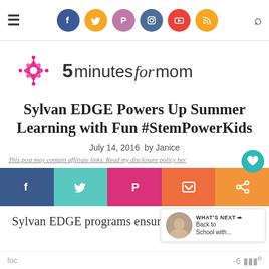5 Minutes for Mom — navigation bar with social icons (Facebook, Twitter, Pinterest, Instagram, YouTube, RSS) and search
[Figure (logo): 5 minutes for mom logo with decorative flower/star graphic in pink and the text '5 minutes for mom' in dark and cursive lettering]
Sylvan EDGE Powers Up Summer Learning with Fun #StemPowerKids
July 14, 2016  by Janice
This post may contain affiliate links. Read my disclosure policy here
[Figure (infographic): Social share buttons row: Facebook (dark blue), Twitter (teal), Pinterest (pink), Pocket (orange-red), Share (orange)]
[Figure (infographic): What's Next widget showing a person's photo and text 'WHAT'S NEXT → Back to School with...']
Sylvan EDGE programs ensure that summer learning is all about fun with their new STEM foc
foc   -6 we